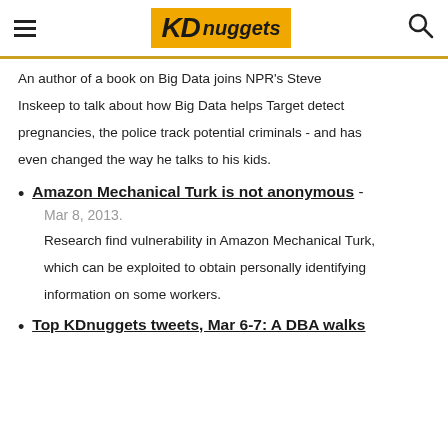KDnuggets
An author of a book on Big Data joins NPR's Steve Inskeep to talk about how Big Data helps Target detect pregnancies, the police track potential criminals - and has even changed the way he talks to his kids.
Amazon Mechanical Turk is not anonymous - Mar 8, 2013. Research find vulnerability in Amazon Mechanical Turk, which can be exploited to obtain personally identifying information on some workers.
Top KDnuggets tweets, Mar 6-7: A DBA walks